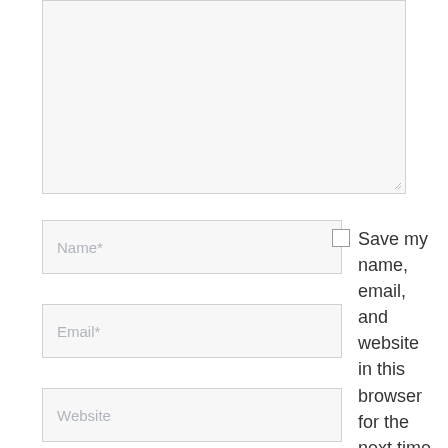[Figure (screenshot): A comment form showing a large textarea (partially visible, cut off at top), followed by Name*, Email*, and Website input fields on the left, and a checkbox with label 'Save my name, email, and website in this browser for the next time I' on the right.]